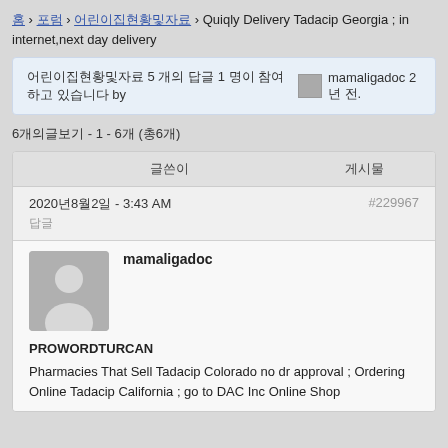홈 › 포럼 › 어린이집현황및자료 › Quiqly Delivery Tadacip Georgia ; in internet,next day delivery
어린이집현황및자료 5 개의 답글 1 명이 참여하고 있습니다 by mamaligadoc 2 년 전.
6개의글보기 - 1 - 6개 (총6개)
| 글쓴이 | 게시물 |
| --- | --- |
| 2020년8월2일 - 3:43 AM | #229967 |
| 답글 |  |
mamaligadoc
PROWORDTURCAN
Pharmacies That Sell Tadacip Colorado no dr approval ; Ordering Online Tadacip California ; go to DAC Inc Online Shop